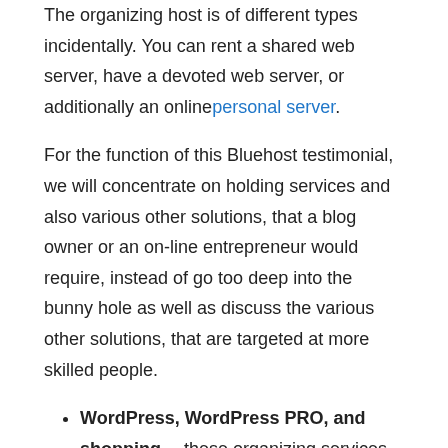The organizing host is of different types incidentally. You can rent a shared web server, have a devoted web server, or additionally an online personal server.
For the function of this Bluehost testimonial, we will concentrate on holding services and also various other solutions, that a blog owner or an on-line entrepreneur would require, instead of go too deep into the bunny hole as well as discuss the various other solutions, that are targeted at more skilled people.
WordPress, WordPress PRO, and shopping— these organizing services are the packages that allow you to organize a web site using WordPress and also WooCommerce (the latter of which permits you to do shopping). After purchasing any one of these bundles, you can start building your site with WordPress as your CMS.
Domain Industry— you can also buy your domain from Bluehost instead of other domain name registrars. Doing so will certainly make it less complicated to aim your domain to